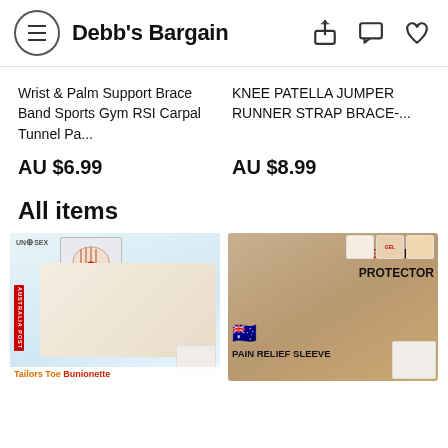Debb's Bargain
Wrist & Palm Support Brace Band Sports Gym RSI Carpal Tunnel Pa...
KNEE PATELLA JUMPER RUNNER STRAP BRACE-...
AU $6.99
AU $8.99
All items
[Figure (photo): Tailors Toe Bunionette product photo showing foot with silicone pad, Australia Post logo, unisex symbol]
[Figure (photo): Gel Bunion Protector Pain Relief Sleeve product photo showing foot with beige gel sleeve, Australian flag, small inset images of GEL product]